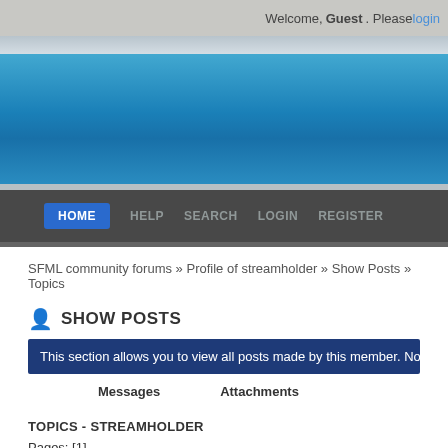Welcome, Guest. Please login
HOME   HELP   SEARCH   LOGIN   REGISTER
SFML community forums » Profile of streamholder » Show Posts » Topics
SHOW POSTS
This section allows you to view all posts made by this member. Note that you can on
Messages   Attachments
TOPICS - STREAMHOLDER
Pages: [1]